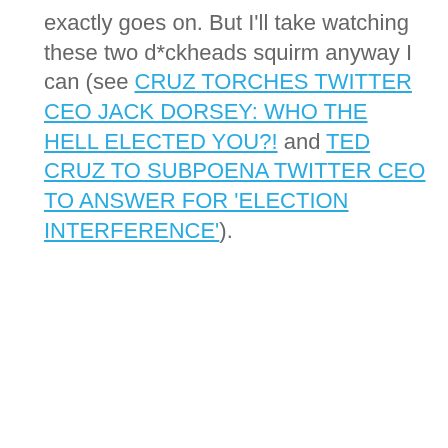exactly goes on. But I'll take watching these two d*ckheads squirm anyway I can (see CRUZ TORCHES TWITTER CEO JACK DORSEY: WHO THE HELL ELECTED YOU?! and TED CRUZ TO SUBPOENA TWITTER CEO TO ANSWER FOR 'ELECTION INTERFERENCE').